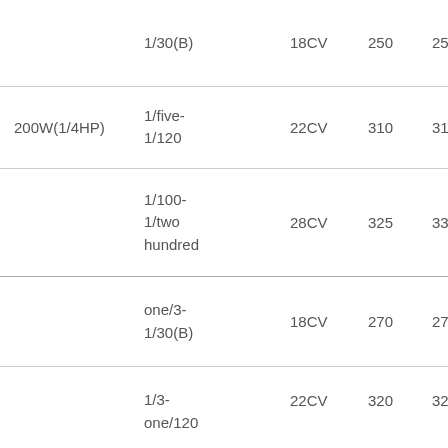| Wattage | Ratio | CV | N1 | N2 |
| --- | --- | --- | --- | --- |
|  | 1/30(B) | 18CV | 250 | 255 |
| 200W(1/4HP) | 1/five-1/120 | 22CV | 310 | 315 |
|  | 1/100-1/two hundred | 28CV | 325 | 330 |
|  | one/3-1/30(B) | 18CV | 270 | 275 |
|  | 1/3-one/120 | 22CV | 320 | 325 |